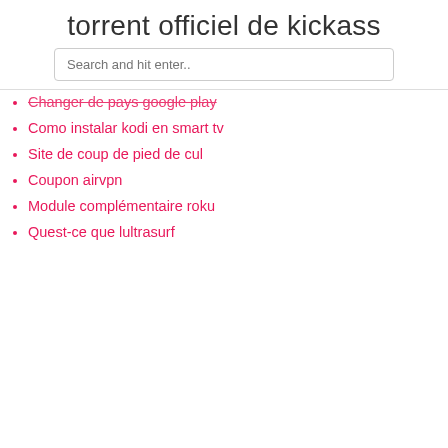torrent officiel de kickass
Changer de pays google play
Como instalar kodi en smart tv
Site de coup de pied de cul
Coupon airvpn
Module complémentaire roku
Quest-ce que lultrasurf